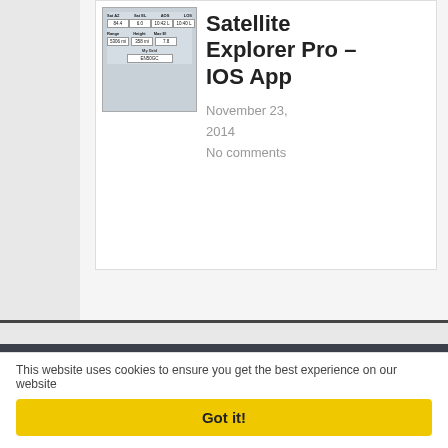[Figure (screenshot): Screenshot of Satellite Explorer Pro iOS app interface showing satellite tracking data with fields for Az, El, AOS, LOS, Range, Height, Max El, and My Grid]
Satellite Explorer Pro – IOS App
November 23, 2014
No comments
Copyright © 2010-2022 QRZnow.com All Rights Reserved - Rodrigo Tarikian - PY2KC
This website uses cookies to ensure you get the best experience on our website
Got it!